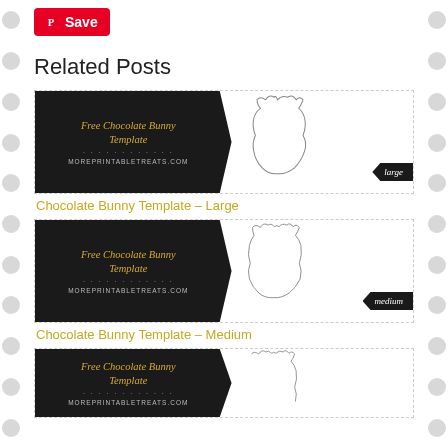[Figure (screenshot): Pinterest Save button with red background and P logo]
Related Posts
[Figure (illustration): Free Chocolate Bunny Template image with banner and large bunny outline, 'large' badge]
Chocolate Bunny Template – Large
[Figure (illustration): Free Chocolate Bunny Template image with banner and medium bunny outline, 'medium' badge]
Chocolate Bunny Template – Medium
[Figure (illustration): Free Chocolate Bunny Template image with banner and small bunny outline (partially visible)]